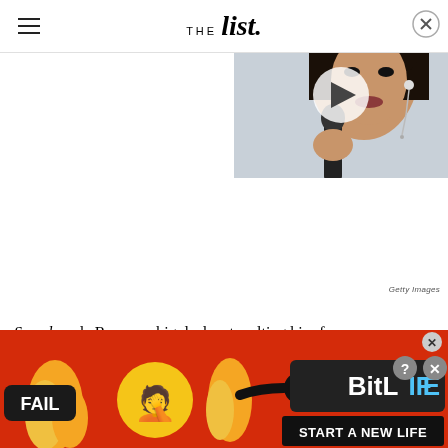THE list
[Figure (photo): Video thumbnail showing a woman holding a microphone, with a play button overlay. She has long dark hair and is wearing ornate chandelier earrings.]
Getty Images
Speed made Reeves a big deal, catapulting him from
[Figure (photo): Advertisement banner for BitLife game showing cartoon fail/fire emojis and text 'START A NEW LIFE']